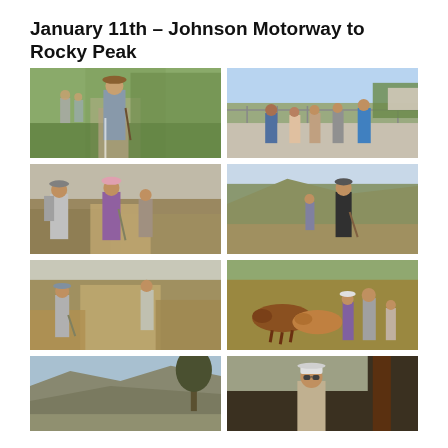January 11th – Johnson Motorway to Rocky Peak
[Figure (photo): Hikers walking on a paved path through green fields, man with walking stick in foreground]
[Figure (photo): Group of hikers walking along a road with fence, trees and hills in background]
[Figure (photo): Three hikers on a dirt trail with dry brush, two women with hiking poles and hats]
[Figure (photo): Two hikers on open hillside with mountains in background]
[Figure (photo): Two hikers on a sandy dirt trail with dry grass]
[Figure (photo): Group of people with horses or cattle in dry grassy field]
[Figure (photo): Mountain vista view with rocky peaks and sky]
[Figure (photo): Person smiling wearing cap and sunglasses near a tree]